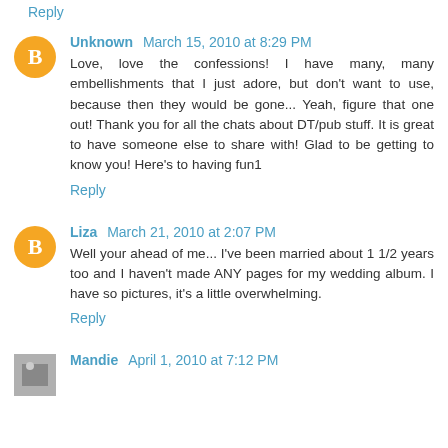Reply
Unknown   March 15, 2010 at 8:29 PM
Love, love the confessions! I have many, many embellishments that I just adore, but don't want to use, because then they would be gone... Yeah, figure that one out! Thank you for all the chats about DT/pub stuff. It is great to have someone else to share with! Glad to be getting to know you! Here's to having fun1
Reply
Liza   March 21, 2010 at 2:07 PM
Well your ahead of me... I've been married about 1 1/2 years too and I haven't made ANY pages for my wedding album. I have so pictures, it's a little overwhelming.
Reply
Mandie   April 1, 2010 at 7:12 PM